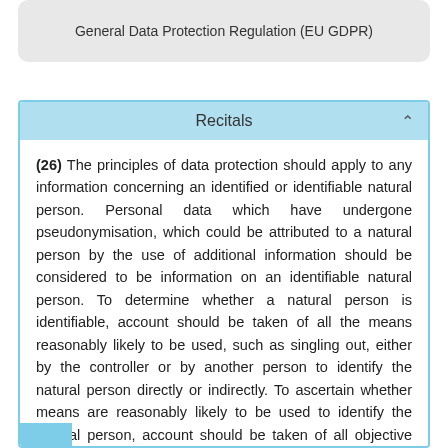General Data Protection Regulation (EU GDPR)
Recitals
(26) The principles of data protection should apply to any information concerning an identified or identifiable natural person. Personal data which have undergone pseudonymisation, which could be attributed to a natural person by the use of additional information should be considered to be information on an identifiable natural person. To determine whether a natural person is identifiable, account should be taken of all the means reasonably likely to be used, such as singling out, either by the controller or by another person to identify the natural person directly or indirectly. To ascertain whether means are reasonably likely to be used to identify the natural person, account should be taken of all objective factors, such as the costs of and the amount of time required for identification, taking into